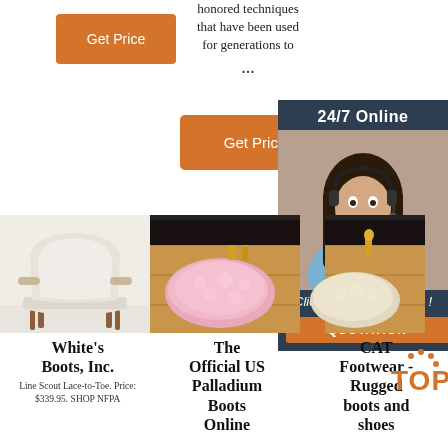[Figure (illustration): Orange 'Get Price' button at top left]
honored techniques that have been used for generations to
...
[Figure (illustration): Orange 'Get Price' button in middle]
[Figure (illustration): 24/7 Online chat widget on right side with agent photo, 'Click here for free chat!' text and QUOTATION button]
[Figure (photo): White armchair product photo]
[Figure (photo): Pink fluffy rug product photo]
[Figure (photo): Sheepskin rug product photo (partially covered by widget)]
White's Boots, Inc.
Line Scout Lace-to-Toe. Price: $339.95. SHOP NFPA
The Official US Palladium Boots Online
CAT Footwear - Rugged boots and shoes